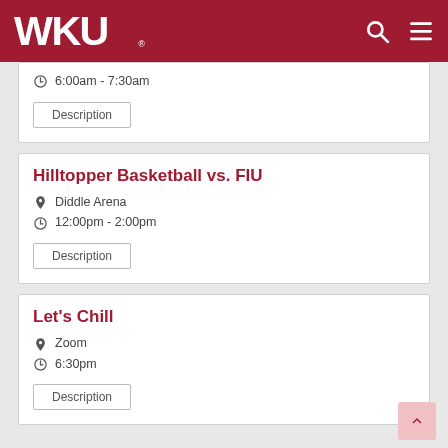WKU
6:00am - 7:30am
Description
Hilltopper Basketball vs. FIU
Diddle Arena
12:00pm - 2:00pm
Description
Let's Chill
Zoom
6:30pm
Description